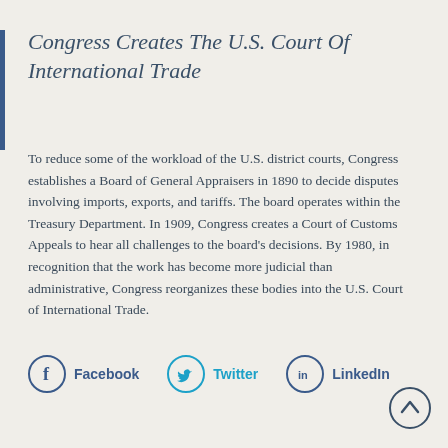Congress Creates The U.S. Court Of International Trade
To reduce some of the workload of the U.S. district courts, Congress establishes a Board of General Appraisers in 1890 to decide disputes involving imports, exports, and tariffs. The board operates within the Treasury Department. In 1909, Congress creates a Court of Customs Appeals to hear all challenges to the board's decisions. By 1980, in recognition that the work has become more judicial than administrative, Congress reorganizes these bodies into the U.S. Court of International Trade.
[Figure (infographic): Social sharing icons: Facebook (circle with f), Twitter (circle with bird), LinkedIn (circle with in), and a back-to-top arrow circle]